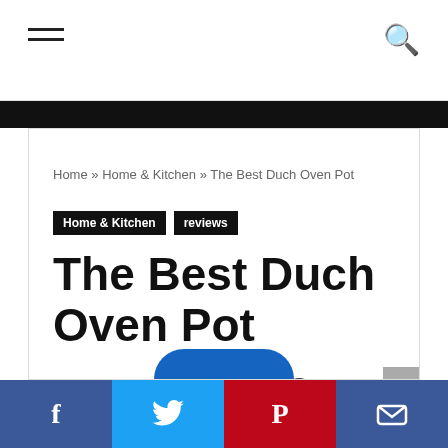Navigation bar with hamburger menu and search icon
Home » Home & Kitchen » The Best Duch Oven Pot
Home & Kitchen   reviews
The Best Duch Oven Pot
kabukilasvegas  •  August 19, 2020
Social share bar: Facebook, Twitter, Pinterest, Email